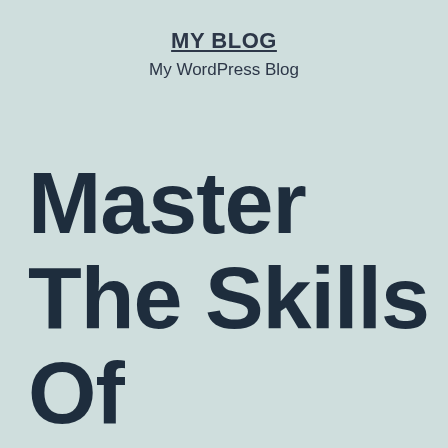MY BLOG
My WordPress Blog
Master The Skills Of Investment As Well As